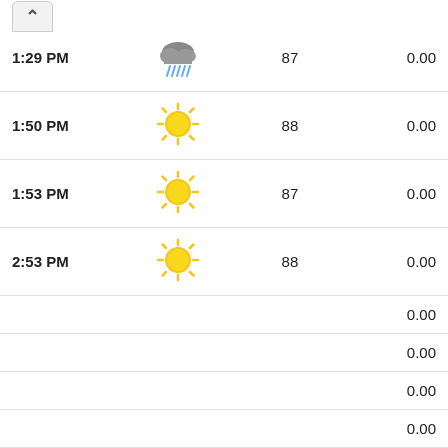| Time | Icon | Temp | Precip |
| --- | --- | --- | --- |
| 1:29 PM | [rain cloud] | 87 | 0.00 |
| 1:50 PM | [sun] | 88 | 0.00 |
| 1:53 PM | [sun] | 87 | 0.00 |
| 2:53 PM | [sun] | 88 | 0.00 |
|  |  |  | 0.00 |
|  |  |  | 0.00 |
|  |  |  | 0.00 |
|  |  |  | 0.00 |
| 7:53 PM | [partial sun] | 85 | 0.00 |
Our Site Uses Cookies
We use cookies to improve your experience, which may also include cookies from third parties. By using our website, you agree to the use of cookies. Learn more in our privacy policy.
ACCEPT & CLOSE